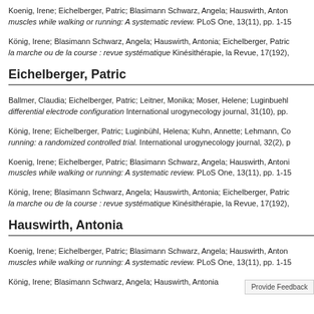Koenig, Irene; Eichelberger, Patric; Blasimann Schwarz, Angela; Hauswirth, Antonia; ... muscles while walking or running: A systematic review. PLoS One, 13(11), pp. 1-15
König, Irene; Blasimann Schwarz, Angela; Hauswirth, Antonia; Eichelberger, Patric; ... la marche ou de la course : revue systématique Kinésithérapie, la Revue, 17(192), ...
Eichelberger, Patric
Ballmer, Claudia; Eichelberger, Patric; Leitner, Monika; Moser, Helene; Luginbuehl, ... differential electrode configuration International urogynecology journal, 31(10), pp.
König, Irene; Eichelberger, Patric; Luginbühl, Helena; Kuhn, Annette; Lehmann, Co... running: a randomized controlled trial. International urogynecology journal, 32(2), p
Koenig, Irene; Eichelberger, Patric; Blasimann Schwarz, Angela; Hauswirth, Antonia; ... muscles while walking or running: A systematic review. PLoS One, 13(11), pp. 1-15
König, Irene; Blasimann Schwarz, Angela; Hauswirth, Antonia; Eichelberger, Patric; ... la marche ou de la course : revue systématique Kinésithérapie, la Revue, 17(192), ...
Hauswirth, Antonia
Koenig, Irene; Eichelberger, Patric; Blasimann Schwarz, Angela; Hauswirth, Anton... muscles while walking or running: A systematic review. PLoS One, 13(11), pp. 1-15
König, Irene; Blasimann Schwarz, Angela; Hauswirth, Antonia; ...